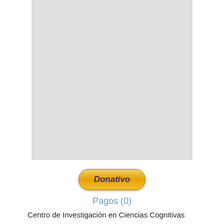[Figure (other): Large light gray placeholder image area]
[Figure (other): Donate button (Donativo) styled as a yellow/orange pill-shaped button with italic bold dark blue text]
Pagos (0)
Centro de Investigación en Ciencias Cognitivas